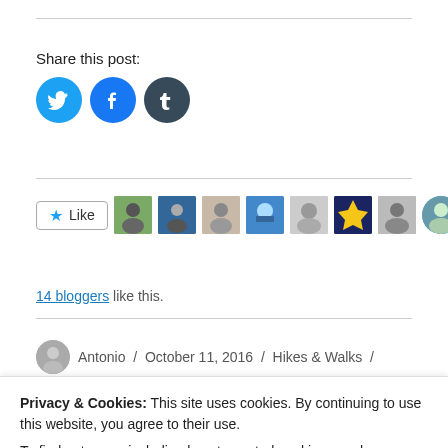Share this post:
[Figure (other): Three social media share buttons: Twitter (blue bird), Facebook (blue f), Tumblr (dark blue t)]
[Figure (other): Like button with star icon and row of 8 blogger avatar thumbnails]
14 bloggers like this.
Antonio / October 11, 2016 / Hikes & Walks /
Privacy & Cookies: This site uses cookies. By continuing to use this website, you agree to their use.
To find out more, including how to control cookies, see here: Cookie Policy
Close and accept